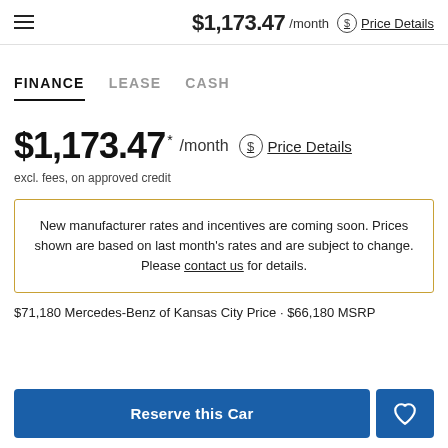$1,173.47 /month  Price Details
FINANCE   LEASE   CASH
$1,173.47 * /month  Price Details
excl. fees, on approved credit
New manufacturer rates and incentives are coming soon. Prices shown are based on last month's rates and are subject to change. Please contact us for details.
$71,180 Mercedes-Benz of Kansas City Price · $66,180 MSRP
Reserve this Car